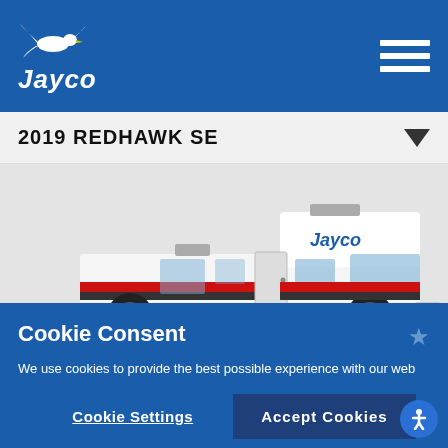[Figure (logo): Jayco logo with bird/seagull icon and italic Jayco wordmark in white on blue background]
2019 REDHAWK SE
[Figure (photo): 2019 Jayco Redhawk SE Class C motorhome, white with red and black stripes, cab-over design, photographed from the side/front on a light grey background]
Cookie Consent
We use cookies to provide the best possible experience with our web sites. This includes cookies that are Strictly Necessary for the site to work, help us understand site usage, help manage your preferences, and deliver advertising relevant to your interests. You can update the behavior of our cookies by selecting "Cookie Settings."
Cookie Settings
Accept Cookies